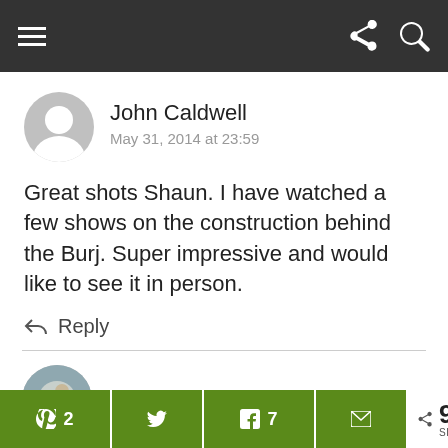Navigation bar with hamburger menu, share and search icons
John Caldwell
May 31, 2014 at 23:59
Great shots Shaun. I have watched a few shows on the construction behind the Burj. Super impressive and would like to see it in person.
Reply
Shaun Robertson
[Figure (screenshot): Social share buttons bar: Pinterest (2), Twitter, Facebook (7), Email, and total share count 9 SHARES]